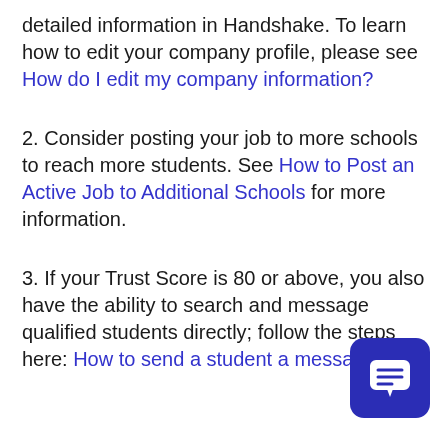detailed information in Handshake. To learn how to edit your company profile, please see How do I edit my company information?
2. Consider posting your job to more schools to reach more students. See How to Post an Active Job to Additional Schools for more information.
3. If your Trust Score is 80 or above, you also have the ability to search and message qualified students directly; follow the steps here: How to send a student a message